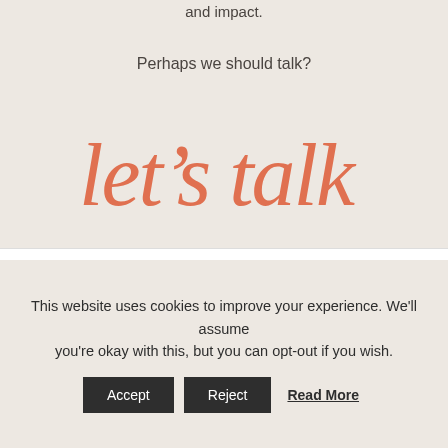and impact.
Perhaps we should talk?
[Figure (illustration): Handwritten-style cursive script reading 'let's talk' in coral/salmon color]
This website uses cookies to improve your experience. We'll assume you're okay with this, but you can opt-out if you wish.
Accept | Reject | Read More